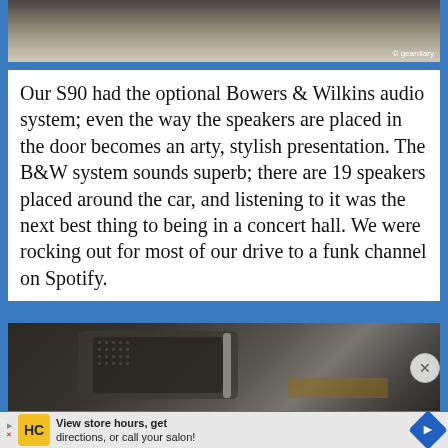[Figure (photo): Top portion of a car interior photo, cropped at top of page, showing dashboard/door area. Copyright geardiary watermark visible.]
Our S90 had the optional Bowers & Wilkins audio system; even the way the speakers are placed in the door becomes an arty, stylish presentation. The B&W system sounds superb; there are 19 speakers placed around the car, and listening to it was the next best thing to being in a concert hall. We were rocking out for most of our drive to a funk channel on Spotify.
[Figure (photo): Close-up photo of a car door speaker, showing a Bowers & Wilkins speaker grille set into a dark car door panel with wood trim.]
View store hours, get directions, or call your salon!